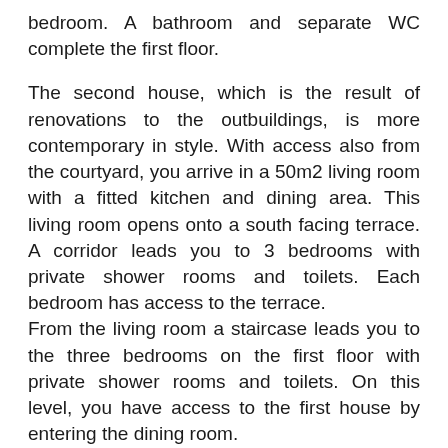bedroom. A bathroom and separate WC complete the first floor.
The second house, which is the result of renovations to the outbuildings, is more contemporary in style. With access also from the courtyard, you arrive in a 50m2 living room with a fitted kitchen and dining area. This living room opens onto a south facing terrace. A corridor leads you to 3 bedrooms with private shower rooms and toilets. Each bedroom has access to the terrace.
From the living room a staircase leads you to the three bedrooms on the first floor with private shower rooms and toilets. On this level, you have access to the first house by entering the dining room.
Adjacent to this second house is a 50m2 ground